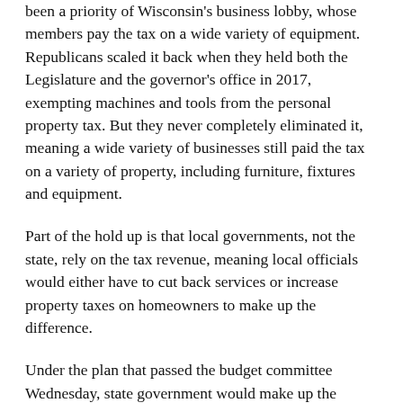been a priority of Wisconsin's business lobby, whose members pay the tax on a wide variety of equipment. Republicans scaled it back when they held both the Legislature and the governor's office in 2017, exempting machines and tools from the personal property tax. But they never completely eliminated it, meaning a wide variety of businesses still paid the tax on a variety of property, including furniture, fixtures and equipment.
Part of the hold up is that local governments, not the state, rely on the tax revenue, meaning local officials would either have to cut back services or increase property taxes on homeowners to make up the difference.
Under the plan that passed the budget committee Wednesday, state government would make up the difference, but there'd be an added twist to how that repayment would happen. Instead of the state automatically reimbursing local governments for lost revenue, the funding would be parked in an account controlled by the budget committee, which is run by Republicans.